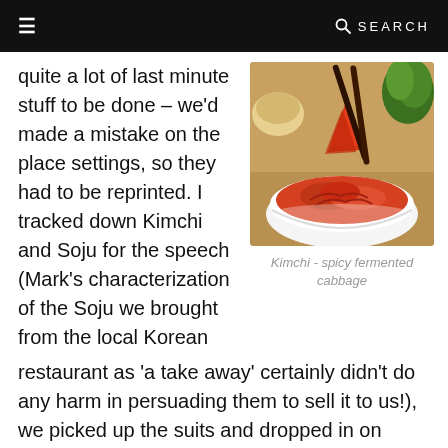≡   SEARCH
quite a lot of last minute stuff to be done – we'd made a mistake on the place settings, so they had to be reprinted. I tracked down Kimchi and Soju for the speech (Mark's characterization of the Soju we brought from the local Korean restaurant as 'a take away' certainly didn't do any harm in persuading them to sell it to us!), we picked up the suits and dropped in on Berlitz, then I headed back to the airport again to collect Dickon.
[Figure (photo): Photo of kimchi (spicy fermented cabbage) in a white bowl, being lifted with chopsticks]
Kimchi - spicy fermented cabbage